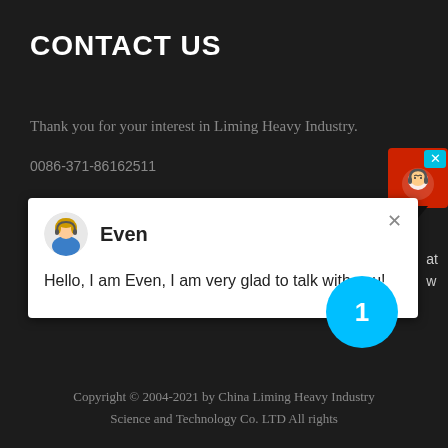CONTACT US
Thank you for your interest in Liming Heavy Industry.
0086-371-86162511
[Figure (screenshot): Chat popup window with avatar of agent named 'Even' saying: Hello, I am Even, I am very glad to talk with you!]
[Figure (illustration): Red customer support icon in top right corner with a headset avatar and a cyan X close button]
[Figure (infographic): Cyan circle notification badge with number 1]
Copyright © 2004-2021 by China Liming Heavy Industry Science and Technology Co. LTD All rights